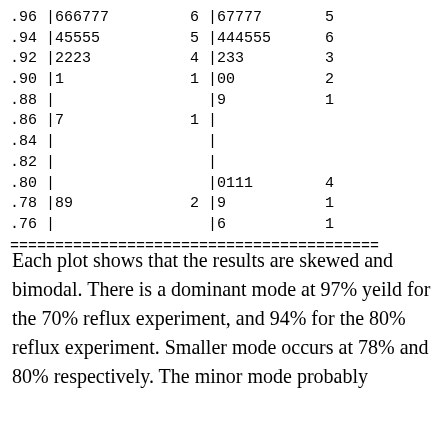| .96 |666777 | 6 |67777 | 5 |
| .94 |45555 | 5 |444555 | 6 |
| .92 |2223 | 4 |233 | 3 |
| .90 |1 | 1 |00 | 2 |
| .88 | |   |9 | 1 |
| .86 |7 | 1 | |  |
| .84 | |   | |  |
| .82 | |   | |  |
| .80 | |   |0111 | 4 |
| .78 |89 | 2 |9 | 1 |
| .76 | |   |6 | 1 |
Each plot shows that the results are skewed and bimodal. There is a dominant mode at 97% yeild for the 70% reflux experiment, and 94% for the 80% reflux experiment. Smaller mode occurs at 78% and 80% respectively. The minor mode probably